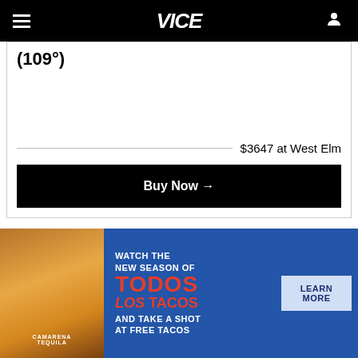VICE
(109°)
$3647 at West Elm
Buy Now →
The good folks over at Castlery make the Jonathan sectional, another choice on the
[Figure (photo): Advertisement banner for Camarena Tequila promoting 'Watch the New Season of Todos Los Tacos and Take a Shot at Free Tacos' with a Learn More button, on a blue background with a bottle of Camarena tequila and a cocktail on the left.]